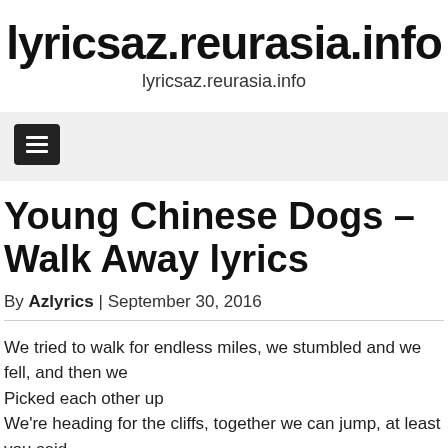lyricsaz.reurasia.info
lyricsaz.reurasia.info
Young Chinese Dogs – Walk Away lyrics
By Azlyrics | September 30, 2016
We tried to walk for endless miles, we stumbled and we fell, and then we
Picked each other up
We're heading for the cliffs, together we can jump, at least you said